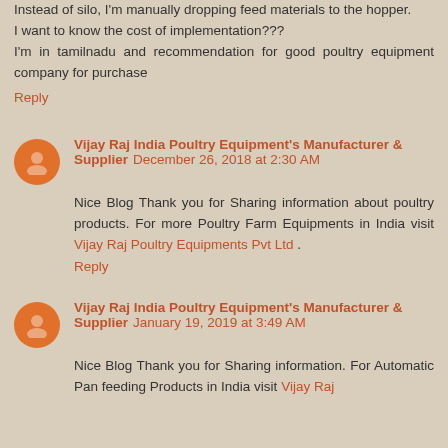Instead of silo, I'm manually dropping feed materials to the hopper.
I want to know the cost of implementation???
I'm in tamilnadu and recommendation for good poultry equipment company for purchase
Reply
Vijay Raj India Poultry Equipment's Manufacturer & Supplier December 26, 2018 at 2:30 AM
Nice Blog Thank you for Sharing information about poultry products. For more Poultry Farm Equipments in India visit Vijay Raj Poultry Equipments Pvt Ltd .
Reply
Vijay Raj India Poultry Equipment's Manufacturer & Supplier January 19, 2019 at 3:49 AM
Nice Blog Thank you for Sharing information. For Automatic Pan feeding Products in India visit Vijay Raj